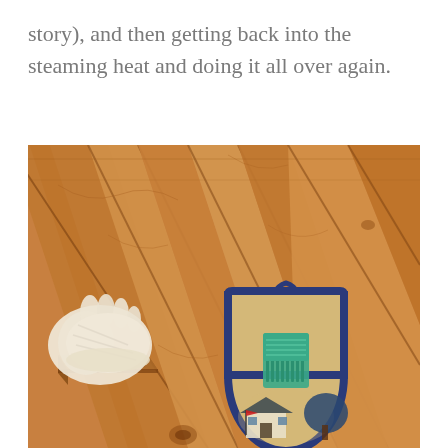story), and then getting back into the steaming heat and doing it all over again.
[Figure (photo): A close-up photo of cedar wood sauna walls with diagonal planks. On the left side, a white towel or mitt rests on a small wooden shelf. On the right side, a decorative oven mitt/bag with a blue border hangs from a hook on the wall, displaying a scenic cabin/house illustration with a teal comb tucked inside.]